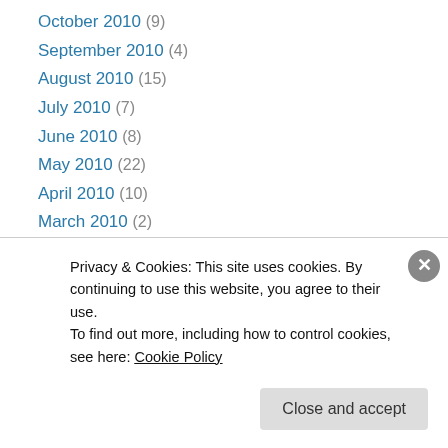October 2010 (9)
September 2010 (4)
August 2010 (15)
July 2010 (7)
June 2010 (8)
May 2010 (22)
April 2010 (10)
March 2010 (2)
February 2010 (12)
January 2010 (9)
December 2009 (7)
November 2009 (4)
October 2009 (9)
Privacy & Cookies: This site uses cookies. By continuing to use this website, you agree to their use. To find out more, including how to control cookies, see here: Cookie Policy